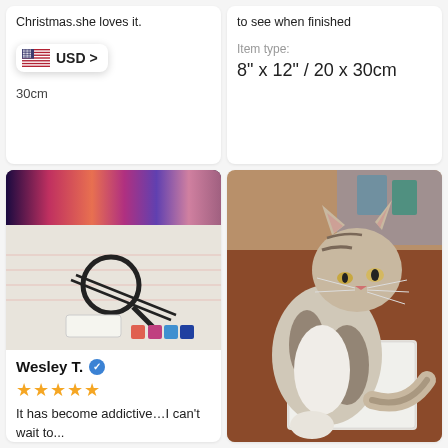Christmas.she loves it.
USD > 30cm
to see when finished
Item type: 8" x 12" / 20 x 30cm
[Figure (photo): Diamond painting kit contents laid out: colorful butterfly artwork strip at top, packaging material with red text pattern, magnifying glass tool, tweezers, wax pad, and colored diamond containers]
Wesley T. ✓
★★★★★
It has become addictive…I can't wait to...
[Figure (photo): A tabby and white cat sitting on a white puppy pad/packaging on a wooden floor, looking to the right, with room shelving visible in the background]